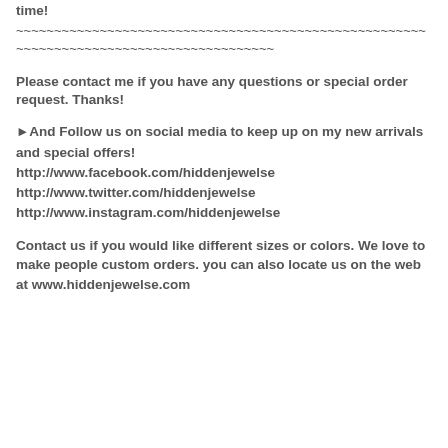time!
~~~~~~~~~~~~~~~~~~~~~~~~~~~~~~~~~~~~~~~~~~~~~~~~~~~~~~~~~~~~~~~~~~~~~~~~~~~~~~~~~~~~~~~~
Please contact me if you have any questions or special order request. Thanks!
►And Follow us on social media to keep up on my new arrivals and special offers!
http://www.facebook.com/hiddenjewelse
http://www.twitter.com/hiddenjewelse
http://www.instagram.com/hiddenjewelse
Contact us if you would like different sizes or colors. We love to make people custom orders. you can also locate us on the web at www.hiddenjewelse.com